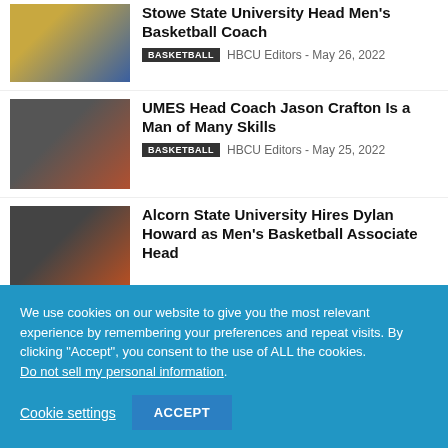Stowe State University Head Men's Basketball Coach
BASKETBALL   HBCU Editors - May 26, 2022
UMES Head Coach Jason Crafton Is a Man of Many Skills
BASKETBALL   HBCU Editors - May 25, 2022
Alcorn State University Hires Dylan Howard as Men's Basketball Associate Head
We use cookies on our website to give you the most relevant experience by remembering your preferences and repeat visits. By clicking “Accept”, you consent to the use of ALL the cookies.
Do not sell my personal information.
Cookie settings   ACCEPT